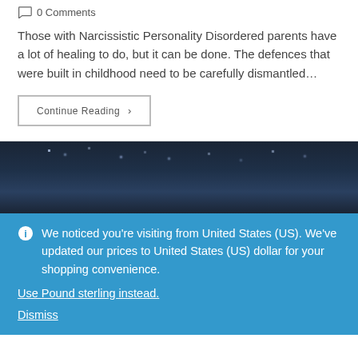0 Comments
Those with Narcissistic Personality Disordered parents have a lot of healing to do, but it can be done. The defences that were built in childhood need to be carefully dismantled…
Continue Reading ›
[Figure (photo): Dark, nearly black photograph, possibly a night sky or dark nature scene with faint specks of light.]
We noticed you're visiting from United States (US). We've updated our prices to United States (US) dollar for your shopping convenience.
Use Pound sterling instead.
Dismiss